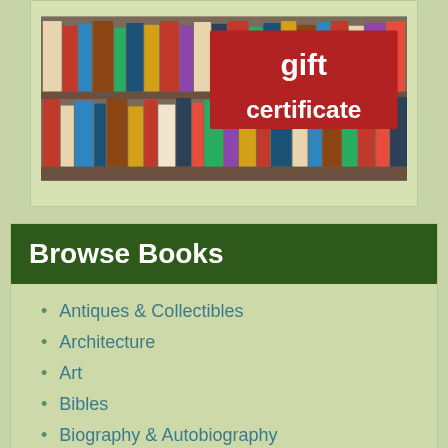[Figure (illustration): Image of bookshelves with books, overlaid with a red rectangle containing white bold text reading 'gift certificate']
Browse Books
Antiques & Collectibles
Architecture
Art
Bibles
Biography & Autobiography
Business & Economics
Comics & Graphic Novels
Cooking
Computers
Crafts & Hobbies